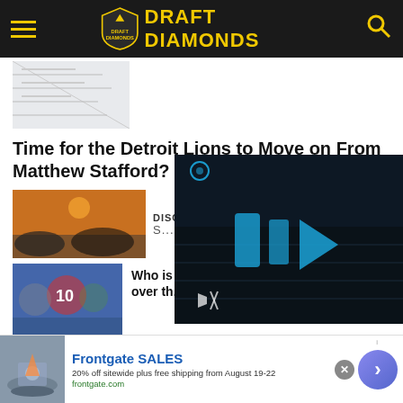DRAFT DIAMONDS
[Figure (screenshot): Partial image of a document/paper at top of page]
Time for the Detroit Lions to Move on From Matthew Stafford?
[Figure (photo): Sunset landscape photo - article thumbnail]
DISCOVER AMAZING S...
[Figure (photo): Football players including one with jersey #10]
Who is ... over th...
[Figure (screenshot): Video overlay with play button on dark football stadium background]
[Figure (photo): Person thumbnail - article image]
Former Lions tight end was arrested after
[Figure (photo): Frontgate advertisement - fire pit furniture image]
Frontgate SALES
20% off sitewide plus free shipping from August 19-22
frontgate.com